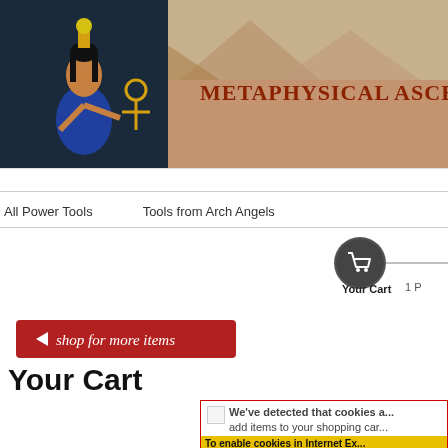[Figure (screenshot): Website header banner with Egyptian goddess figure on left, desert/pyramid background, and site title 'Metaphysical Ascension Power' in dark red serif text]
All Power Tools    Tools from Arch Angels
[Figure (illustration): Shopping cart checkout progress indicator: dark circular cart icon with white cart symbol, connected by line to '1 P...' step]
Your Cart    1 P
[Figure (illustration): Red button with left arrow and italic text 'shop for more items']
Your Cart
We've detected that cookies a... add items to your shopping car... to the instructions for your sp...
To enable cookies in Internet Ex...